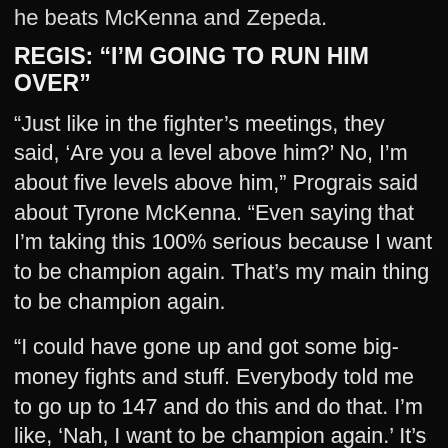he beats McKenna and Zepeda.
REGIS: “I’M GOING TO RUN HIM OVER”
“Just like in the fighter’s meetings, they said, ‘Are you a level above him?’ No, I’m about five levels above him,” Prograis said about Tyrone McKenna. “Even saying that I’m taking this 100% serious because I want to be champion again. That’s my main thing to be champion again.
“I could have gone up and got some big-money fights and stuff. Everybody told me to go up to 147 and do this and do that. I’m like, ‘Nah, I want to be champion again.’ It’s